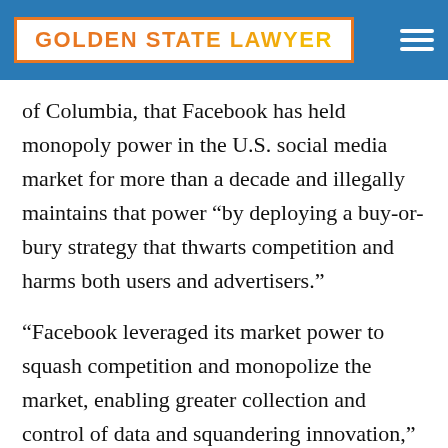GOLDEN STATE LAWYER
of Columbia, that Facebook has held monopoly power in the U.S. social media market for more than a decade and illegally maintains that power “by deploying a buy-or-bury strategy that thwarts competition and harms both users and advertisers.”
“Facebook leveraged its market power to squash competition and monopolize the market, enabling greater collection and control of data and squandering innovation,” California Attorney General Xavier Becerra said in a statement accompanying the